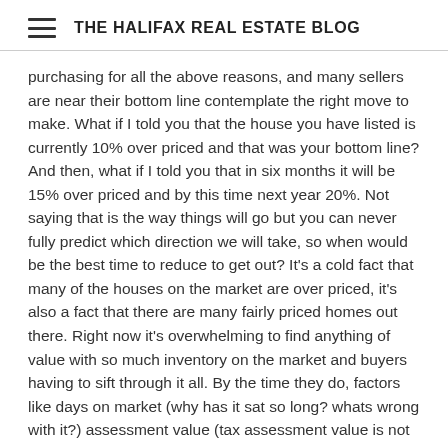THE HALIFAX REAL ESTATE BLOG
purchasing for all the above reasons, and many sellers are near their bottom line contemplate the right move to make. What if I told you that the house you have listed is currently 10% over priced and that was your bottom line? And then, what if I told you that in six months it will be 15% over priced and by this time next year 20%. Not saying that is the way things will go but you can never fully predict which direction we will take, so when would be the best time to reduce to get out? It's a cold fact that many of the houses on the market are over priced, it's also a fact that there are many fairly priced homes out there. Right now it's overwhelming to find anything of value with so much inventory on the market and buyers having to sift through it all. By the time they do, factors like days on market (why has it sat so long? whats wrong with it?) assessment value (tax assessment value is not an appraisal for all those who